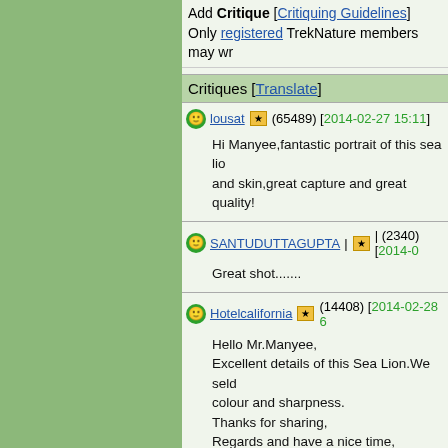Add Critique [Critiquing Guidelines]
Only registered TrekNature members may wr...
Critiques [Translate]
lousat (65489) [2014-02-27 15:11]
Hi Manyee,fantastic portrait of this sea lio... and skin,great capture and great quality!
SANTUDUTTAGUPTA | (2340) [2014-0...
Great shot.......
Hotelcalifornia (14408) [2014-02-28 6...
Hello Mr.Manyee,
Excellent details of this Sea Lion.We selo... colour and sharpness.
Thanks for sharing,
Regards and have a nice time,
Srikumar
Cal...
[Figure (other): Grayscale gradient scale bar from 0 to 5+]
Copyright © 2018 MH Sub I, LLC dba Internet Bra... the Terms of Use. | Priv...